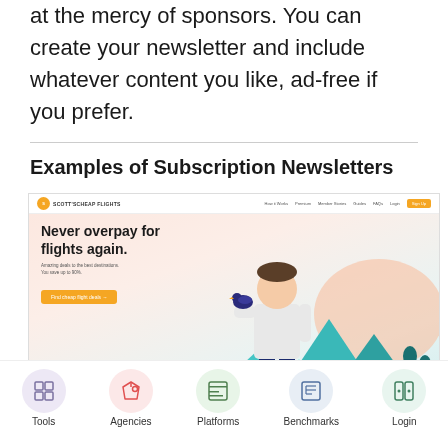at the mercy of sponsors. You can create your newsletter and include whatever content you like, ad-free if you prefer.
Examples of Subscription Newsletters
[Figure (screenshot): Screenshot of Scott's Cheap Flights website showing hero section with text 'Never overpay for flights again.' and an illustration of a man with a bird against a tropical mountain backdrop.]
[Figure (screenshot): Bottom navigation bar showing icons for Tools, Agencies, Platforms, Benchmarks, and Login categories.]